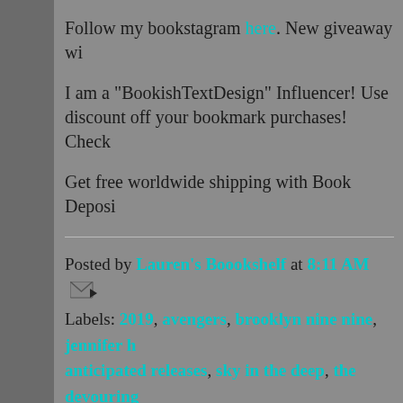Follow my bookstagram here. New giveaway wi...
I am a "BookishTextDesign" Influencer! Use... discount off your bookmark purchases! Check...
Get free worldwide shipping with Book Deposi...
Posted by Lauren's Boookshelf at 8:11 AM
Labels: 2019, avengers, brooklyn nine nine, jennifer h... anticipated releases, sky in the deep, the devouring... glass